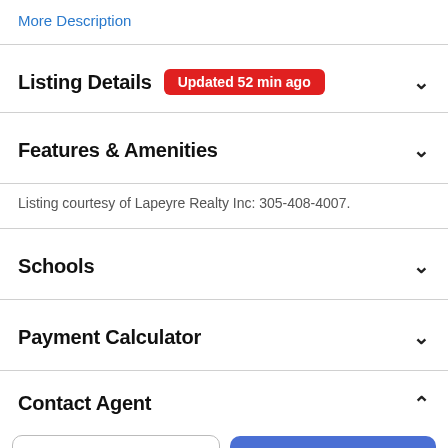More Description
Listing Details  Updated 52 min ago
Features & Amenities
Listing courtesy of Lapeyre Realty Inc: 305-408-4007.
Schools
Payment Calculator
Contact Agent
Take a Tour
Ask A Question